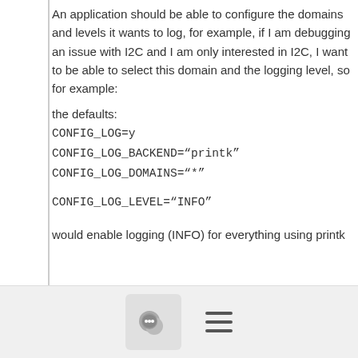An application should be able to configure the domains and levels it wants to log, for example, if I am debugging an issue with I2C and I am only interested in I2C, I want to be able to select this domain and the logging level, so for example:
the defaults:
CONFIG_LOG=y
CONFIG_LOG_BACKEND="printk"
CONFIG_LOG_DOMAINS="*"

CONFIG_LOG_LEVEL="INFO"
would enable logging (INFO) for everything using printk
[Figure (screenshot): Footer navigation bar with chat bubble icon button and hamburger menu icon]